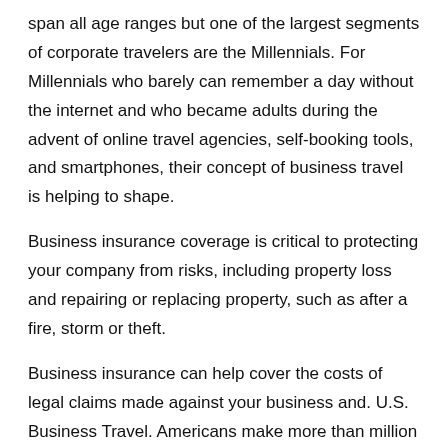span all age ranges but one of the largest segments of corporate travelers are the Millennials. For Millennials who barely can remember a day without the internet and who became adults during the advent of online travel agencies, self-booking tools, and smartphones, their concept of business travel is helping to shape.
Business insurance coverage is critical to protecting your company from risks, including property loss and repairing or replacing property, such as after a fire, storm or theft.
Business insurance can help cover the costs of legal claims made against your business and. U.S. Business Travel. Americans make more than million long-distance business trips per year, accounting for 16% of all long-distance travel (see Box A), according to a preliminary analysis of the National Household Travel Survey (NHTS).Conducted from tothe NHTS as people in 26, U.S.
households about all trips they took in a given travel period and looked at the. Small Business Insurance Products & Solutions. Maybe it began as a hobby, or a bold career move.